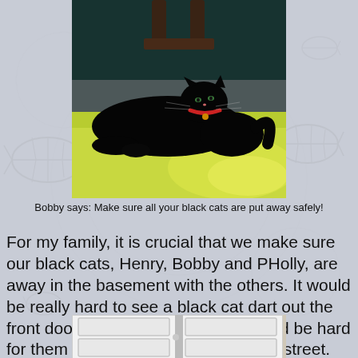[Figure (photo): A black cat lying on a yellow-green carpet near a dark wooden headboard, wearing a red collar.]
Bobby says: Make sure all your black cats are put away safely!
For my family, it is crucial that we make sure our black cats, Henry, Bobby and PHolly, are away in the basement with the others. It would be really hard to see a black cat dart out the front door at nighttime, just as it would be hard for them to see a car going down the street.
[Figure (photo): A white interior door with two panels, partially visible at the bottom of the page.]